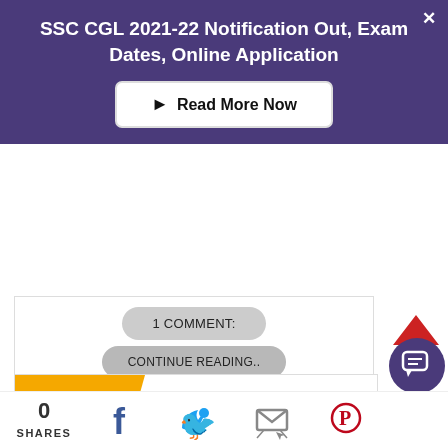SSC CGL 2021-22 Notification Out, Exam Dates, Online Application
Read More Now
1 COMMENT:
CONTINUE READING..
[Figure (screenshot): Mahendra's logo and branding banner with teal, yellow and white design and emblems]
0 SHARES
[Figure (infographic): Social media share bar with Facebook, Twitter, email, and Pinterest icons and a 0 shares count]